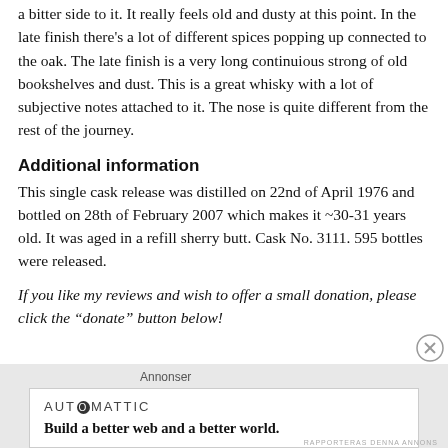a bitter side to it. It really feels old and dusty at this point. In the late finish there's a lot of different spices popping up connected to the oak. The late finish is a very long continuious strong of old bookshelves and dust. This is a great whisky with a lot of subjective notes attached to it. The nose is quite different from the rest of the journey.
Additional information
This single cask release was distilled on 22nd of April 1976 and bottled on 28th of February 2007 which makes it ~30-31 years old. It was aged in a refill sherry butt. Cask No. 3111. 595 bottles were released.
If you like my reviews and wish to offer a small donation, please click the “donate” button below!
[Figure (other): Close button (X circle icon) for advertisement]
Annonser
[Figure (other): Automattic advertisement: Build a better web and a better world.]